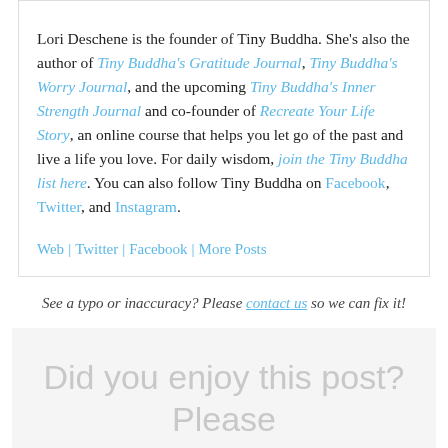Lori Deschene is the founder of Tiny Buddha. She's also the author of Tiny Buddha's Gratitude Journal, Tiny Buddha's Worry Journal, and the upcoming Tiny Buddha's Inner Strength Journal and co-founder of Recreate Your Life Story, an online course that helps you let go of the past and live a life you love. For daily wisdom, join the Tiny Buddha list here. You can also follow Tiny Buddha on Facebook, Twitter, and Instagram.
Web | Twitter | Facebook | More Posts
See a typo or inaccuracy? Please contact us so we can fix it!
Did you enjoy this post? Please share the wisdom :)